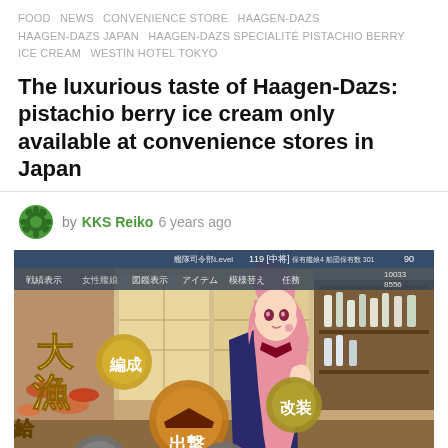FOOD  NEWS  CONVENIENCE STORE  HAAGEN-DAZS  HAAGEN-DAZS JAPAN  HAAGEN-DAZS SPECIALITÉ PISTACHIO BERRY ICE CREAM  WESTIN HOTEL TOKYO
The luxurious taste of Haagen-Dazs: pistachio berry ice cream only available at convenience stores in Japan
by KKS Reiko 6 years ago
[Figure (screenshot): Screenshot of a Japanese browser game (Kantai Collection / KanColle) showing an anime girl character with pink hair in a Japanese interior bar setting, with game menu icons showing Japanese text including 大漁, 編成, 出撃, 改装, 入渠, 工廠, and a top navigation bar with stats.]